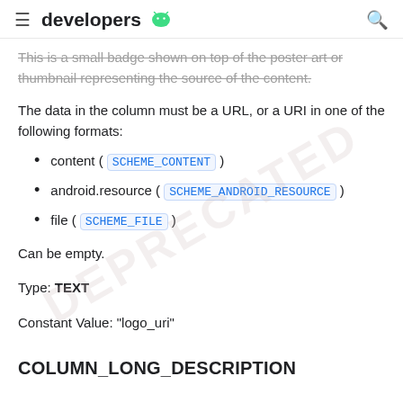developers
This is a small badge shown on top of the poster art or thumbnail representing the source of the content.
The data in the column must be a URL, or a URI in one of the following formats:
content ( SCHEME_CONTENT )
android.resource ( SCHEME_ANDROID_RESOURCE )
file ( SCHEME_FILE )
Can be empty.
Type: TEXT
Constant Value: "logo_uri"
COLUMN_LONG_DESCRIPTION